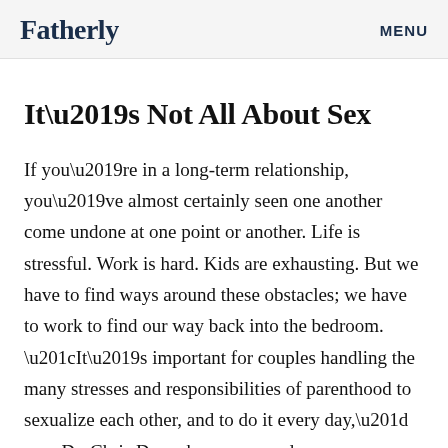Fatherly   MENU
It’s Not All About Sex
If you’re in a long-term relationship, you’ve almost certainly seen one another come undone at one point or another. Life is stressful. Work is hard. Kids are exhausting. But we have to find ways around these obstacles; we have to work to find our way back into the bedroom. “It’s important for couples handling the many stresses and responsibilities of parenthood to sexualize each other, and to do it every day,” says Dr. Chris Donaghue, a sex and